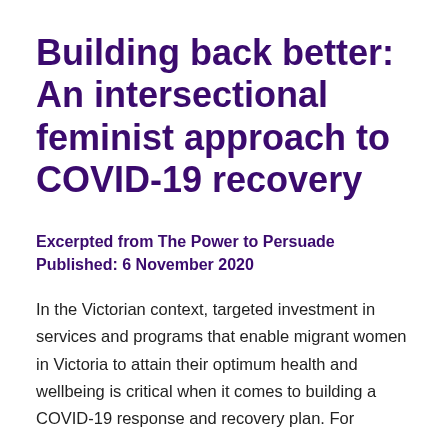Building back better: An intersectional feminist approach to COVID-19 recovery
Excerpted from The Power to Persuade
Published: 6 November 2020
In the Victorian context, targeted investment in services and programs that enable migrant women in Victoria to attain their optimum health and wellbeing is critical when it comes to building a COVID-19 response and recovery plan. For